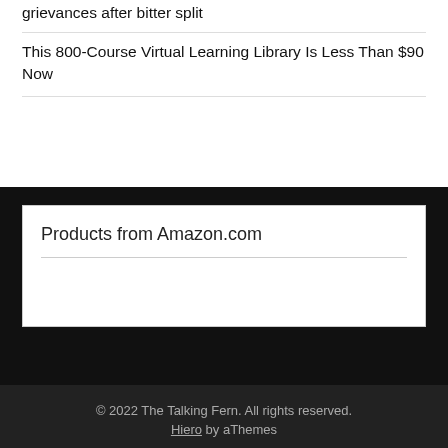grievances after bitter split
This 800-Course Virtual Learning Library Is Less Than $90 Now
Products from Amazon.com
© 2022 The Talking Fern. All rights reserved. Hiero by aThemes